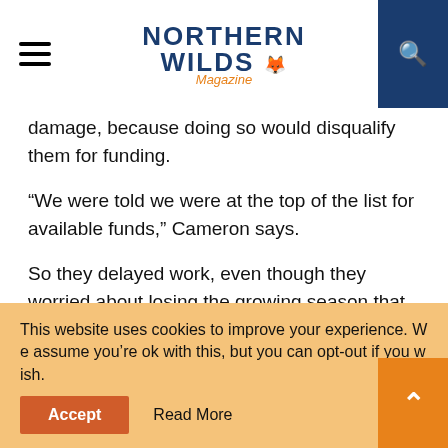Northern Wilds Magazine
damage, because doing so would disqualify them for funding.
“We were told we were at the top of the list for available funds,” Cameron says.
So they delayed work, even though they worried about losing the growing season that would allow grass to become established on newly restored slopes. They couldn’t get any answers from state officials as to what repair work they could do. What they were told, via letter, is that federal funds might be available, but, since it was an election year, the
This website uses cookies to improve your experience. We assume you’re ok with this, but you can opt-out if you wish.